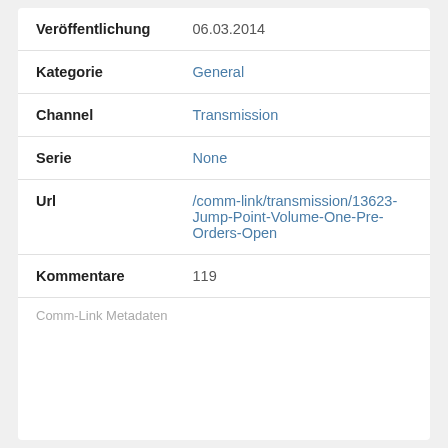| Veröffentlichung | 06.03.2014 |
| Kategorie | General |
| Channel | Transmission |
| Serie | None |
| Url | /comm-link/transmission/13623-Jump-Point-Volume-One-Pre-Orders-Open |
| Kommentare | 119 |
Comm-Link Metadaten